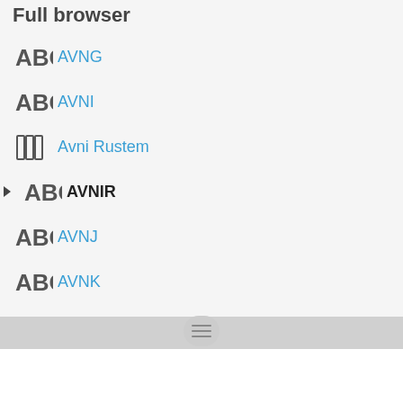Full browser
ABC AVNG
ABC AVNI
[books icon] Avni Rustem
ABC AVNIR
ABC AVNJ
ABC AVNK
ABC AVNL
ABC AVNM